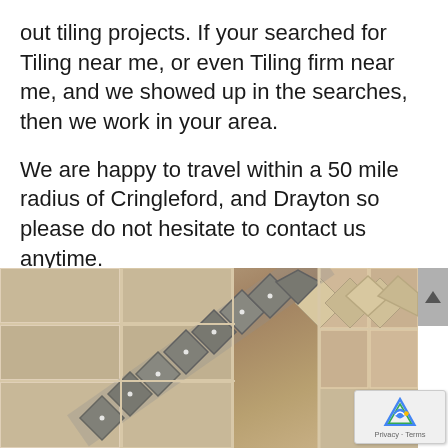out tiling projects. If your searched for Tiling near me, or even Tiling firm near me, and we showed up in the searches, then we work in your area.

We are happy to travel within a 50 mile radius of Cringleford, and Drayton so please do not hesitate to contact us anytime.
[Figure (photo): Close-up photograph of decorative diamond-pattern tile border on a wall, with beige/tan square tiles and grey/brown diamond accent tiles arranged diagonally, with tile spacers visible]